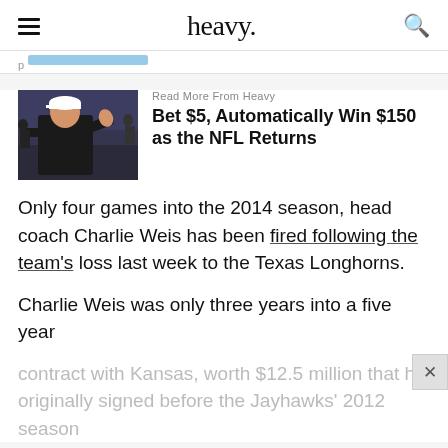heavy.
[Figure (photo): Football coach in black jacket and white cap on sideline, pointing with thumbs up]
Read More From Heavy
Bet $5, Automatically Win $150 as the NFL Returns
Only four games into the 2014 season, head coach Charlie Weis has been fired following the team's loss last week to the Texas Longhorns.
Charlie Weis was only three years into a five year contract with Kansas, worth $12.5 million that he originally signed before the Jayhawks' 2012 season